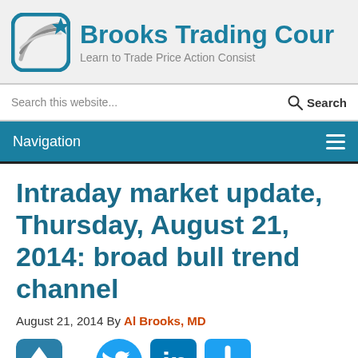[Figure (logo): Brooks Trading Course logo with teal icon and text: 'Brooks Trading Cour' and subtitle 'Learn to Trade Price Action Consist']
Search this website...
Search
Navigation
Intraday market update, Thursday, August 21, 2014: broad bull trend channel
August 21, 2014 By Al Brooks, MD
[Figure (illustration): Social sharing icons: share up arrow (teal), Twitter bird (blue circle), LinkedIn (blue square), plus button (blue square)]